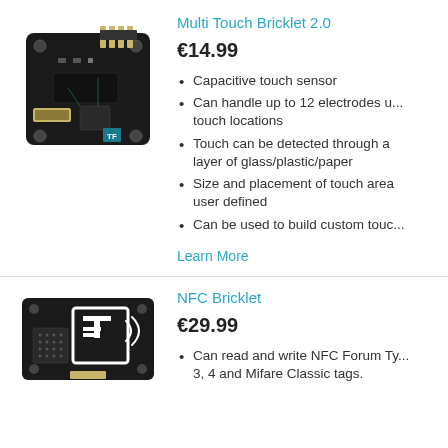Multi Touch Bricklet 2.0
€14.99
Capacitive touch sensor
Can handle up to 12 electrodes u... touch locations
Touch can be detected through a layer of glass/plastic/paper
Size and placement of touch area user defined
Can be used to build custom touc...
Learn More
[Figure (photo): Multi Touch Bricklet 2.0 - black PCB with GPIO header pins and capacitive touch connectors]
NFC Bricklet
€29.99
Can read and write NFC Forum Ty... 3, 4 and Mifare Classic tags.
[Figure (photo): NFC Bricklet - black PCB with TF logo and NFC antenna]